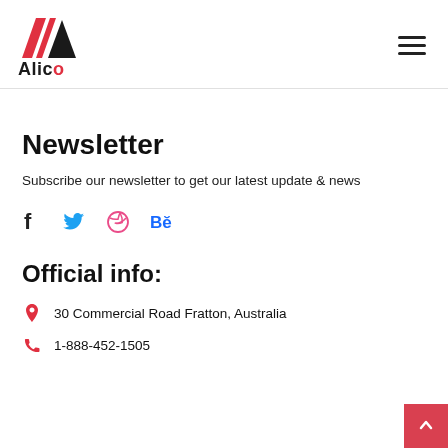[Figure (logo): Alico company logo with red and black chevron/mountain icon above the text 'Alico' with red 'o']
Newsletter
Subscribe our newsletter to get our latest update & news
[Figure (infographic): Social media icons: Facebook (f), Twitter (bird), Dribbble (pink/red basketball), Behance (Be in blue)]
Official info:
30 Commercial Road Fratton, Australia
1-888-452-1505